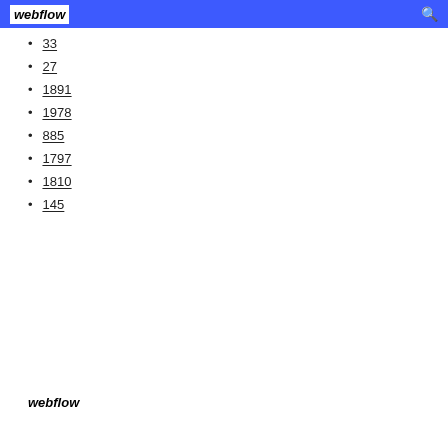webflow
33
27
1891
1978
885
1797
1810
145
webflow